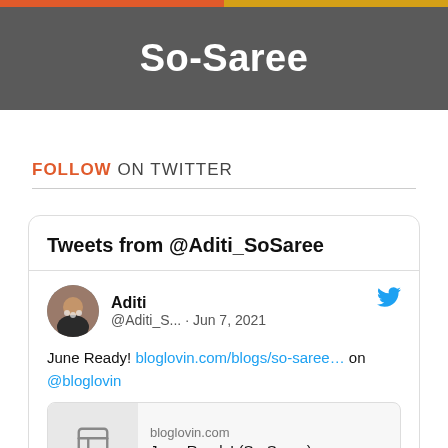So-Saree
FOLLOW ON TWITTER
[Figure (screenshot): Embedded Twitter widget showing Tweets from @Aditi_SoSaree. A tweet by Aditi (@Aditi_S...) dated Jun 7, 2021 reads: 'June Ready! bloglovin.com/blogs/so-saree... on @bloglovin' with a link card showing bloglovin.com and 'June Ready! (So-Saree)']